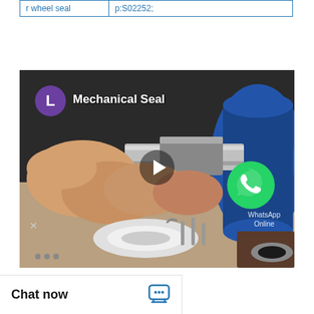| r wheel seal | p:S02252; |
[Figure (screenshot): Video thumbnail of a mechanical seal installation. Shows a technician's hands working on a large blue flanged pump/valve assembly, inserting a cylindrical mechanical seal component. A WhatsApp Online icon appears in the upper right of the video. A purple 'L' avatar circle and 'Mechanical Seal' title appear at the top. A play button triangle is centered. Navigation dots and close X appear at the bottom-left.]
Chat now